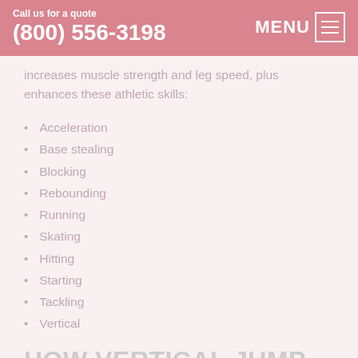Call us for a quote (800) 556-3198 MENU
increases muscle strength and leg speed, plus enhances these athletic skills:
Acceleration
Base stealing
Blocking
Rebounding
Running
Skating
Hitting
Starting
Tackling
Vertical
HOW VERTICAL JUMP TRAINERS WORK